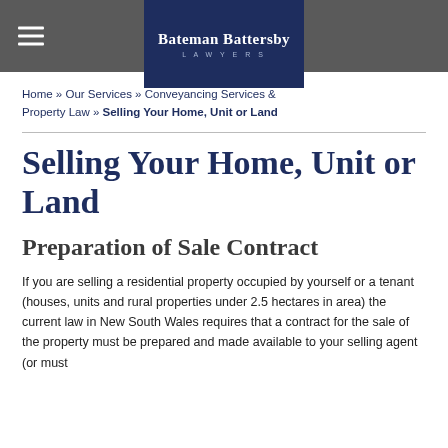Bateman Battersby LAWYERS
Home » Our Services » Conveyancing Services & Property Law » Selling Your Home, Unit or Land
Selling Your Home, Unit or Land
Preparation of Sale Contract
If you are selling a residential property occupied by yourself or a tenant (houses, units and rural properties under 2.5 hectares in area) the current law in New South Wales requires that a contract for the sale of the property must be prepared and made available to your selling agent (or must